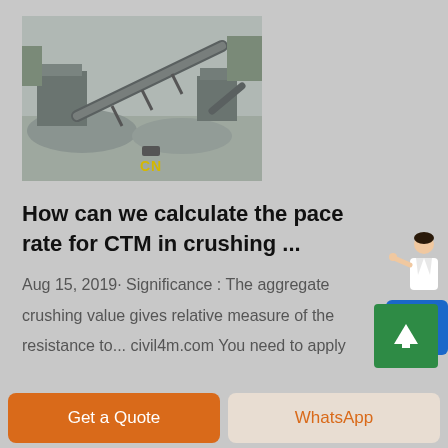[Figure (photo): Aerial/overhead view of a stone crushing plant facility with conveyor belts, machinery and aggregate piles. 'CN' watermark in yellow text at bottom center.]
[Figure (illustration): Free chat widget showing a woman in business attire with a blue button labeled 'Free chat']
How can we calculate the pace rate for CTM in crushing ...
Aug 15, 2019· Significance : The aggregate crushing value gives relative measure of the resistance to... civil4m.com You need to apply
[Figure (other): Green scroll-to-top button with upward arrow]
Get a Quote
WhatsApp